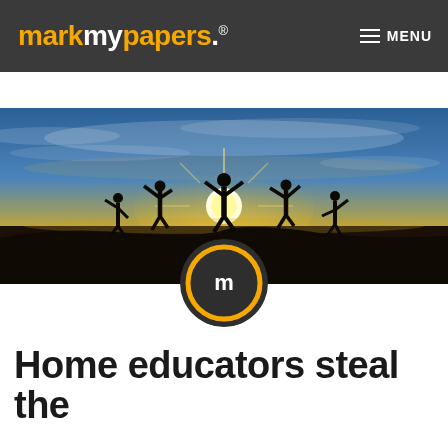markmypapers. ® MENU
[Figure (photo): Beach sunset scene with silhouettes of five people jumping with arms raised, dramatic sky with golden and blue tones, markmypapers circular logo overlaid at bottom center of image]
Home educators steal the